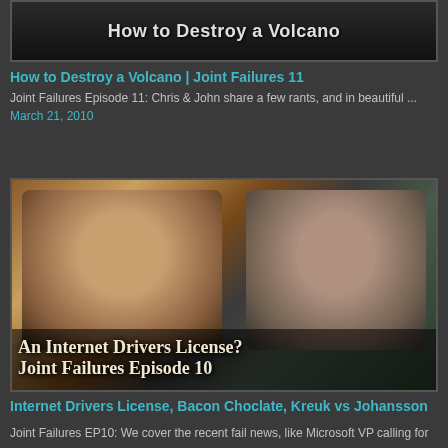[Figure (screenshot): Thumbnail image for 'How to Destroy a Volcano | Joint Failures 11' showing title text on dark background]
How to Destroy a Volcano | Joint Failures 11
Joint Failures Episode 11: Chris & John share a few rants, and in beautiful ...
March 21, 2010
[Figure (screenshot): Thumbnail image showing two men at microphones with text 'An Internet Drivers License? Joint Failures Episode 10']
Internet Drivers License, Bacon Choclate, Kreuk vs Johansson
Joint Failures EP10: We cover the recent fail news, like Microsoft VP calling for ...